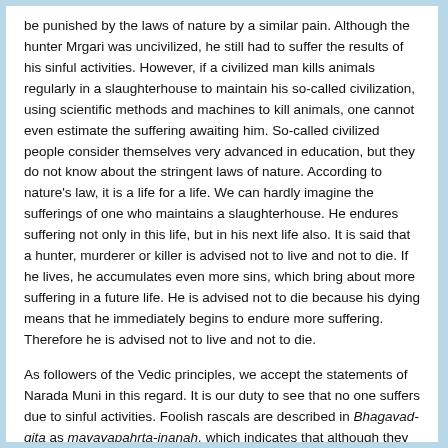be punished by the laws of nature by a similar pain. Although the hunter Mrgari was uncivilized, he still had to suffer the results of his sinful activities. However, if a civilized man kills animals regularly in a slaughterhouse to maintain his so-called civilization, using scientific methods and machines to kill animals, one cannot even estimate the suffering awaiting him. So-called civilized people consider themselves very advanced in education, but they do not know about the stringent laws of nature. According to nature's law, it is a life for a life. We can hardly imagine the sufferings of one who maintains a slaughterhouse. He endures suffering not only in this life, but in his next life also. It is said that a hunter, murderer or killer is advised not to live and not to die. If he lives, he accumulates even more sins, which bring about more suffering in a future life. He is advised not to die because his dying means that he immediately begins to endure more suffering. Therefore he is advised not to live and not to die.
As followers of the Vedic principles, we accept the statements of Narada Muni in this regard. It is our duty to see that no one suffers due to sinful activities. Foolish rascals are described in Bhagavad-gita as mayayapahrta-jnanah, which indicates that although they are superficially educated, maya has taken their real knowledge away. Such people are presently leading human society. In Srimad-Bhagavatam they are also